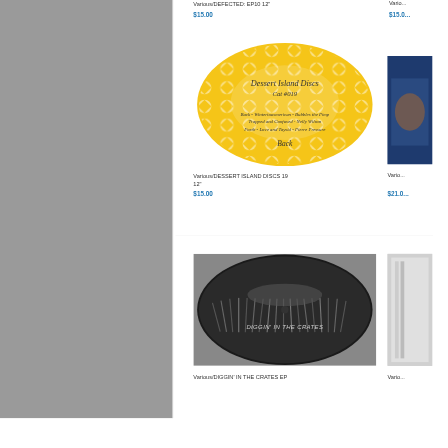Various/DEFECTED: EP10 12"
$15.00
Vario...
$15.0...
[Figure (photo): Yellow oval vinyl record label with geometric diamond pattern - Dessert Island Discs Cat #019]
Various/DESSERT ISLAND DISCS 19 12"
$15.00
[Figure (photo): Blue album cover partially visible on right side]
Vario...
$21.0...
[Figure (photo): Black and white oval vinyl record label showing hands digging through records - DIGGIN' IN THE CRATES]
Various/DIGGIN' IN THE CRATES EP
[Figure (photo): Partial image on right side]
Vario...